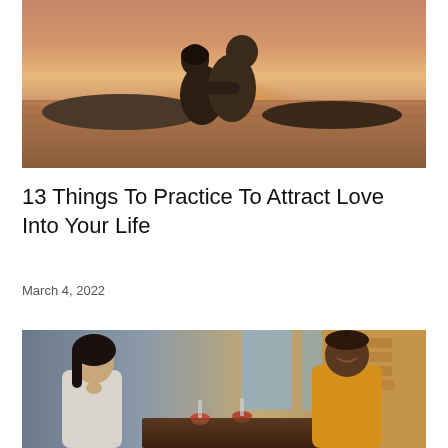[Figure (photo): Couple embracing on a beach at sunset, viewed from behind, warm golden and orange tones from the sunset over water]
13 Things To Practice To Attract Love Into Your Life
March 4, 2022
[Figure (photo): A man in a yellow sweater and a woman with dark hair sitting across from each other at a restaurant table with wine glasses, smiling, warm indoor lighting]